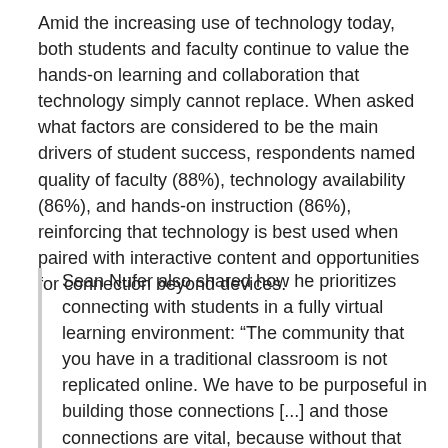Amid the increasing use of technology today, both students and faculty continue to value the hands-on learning and collaboration that technology simply cannot replace. When asked what factors are considered to be the main drivers of student success, respondents named quality of faculty (88%), technology availability (86%), and hands-on instruction (86%), reinforcing that technology is best used when paired with interactive content and opportunities for connection beyond devices.
Sean Nufer also shared how he prioritizes connecting with students in a fully virtual learning environment: “The community that you have in a traditional classroom is not replicated online. We have to be purposeful in building those connections [...] and those connections are vital, because without that network, what are we? We’re not just repositories of information. What brings education value are the connections we make that